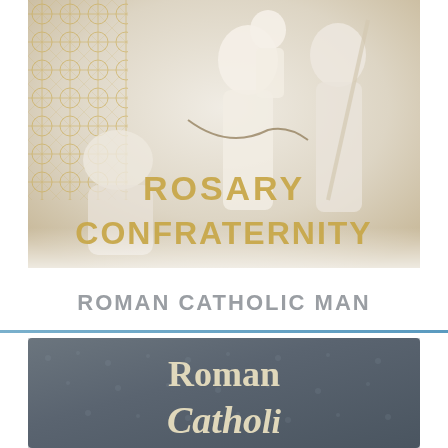[Figure (illustration): Religious sculpture/bas-relief depicting the Madonna and Child with a saint presenting a rosary, overlaid with golden decorative cross-hatch pattern background, and gold bold text reading ROSARY CONFRATERNITY]
ROMAN CATHOLIC MAN
[Figure (photo): Dark grey leather-textured book cover with cream/gold serif text reading Roman Catholic (Catho... partially visible)]